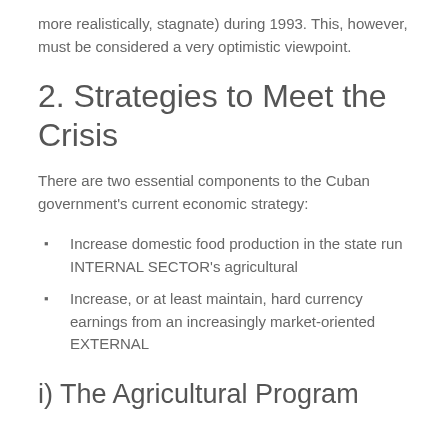more realistically, stagnate) during 1993.  This, however, must be considered a very optimistic viewpoint.
2.  Strategies to Meet the Crisis
There are two essential components to the Cuban government's current economic strategy:
Increase domestic food production in the state run INTERNAL SECTOR's agricultural
Increase, or at least maintain, hard currency earnings from an increasingly market-oriented EXTERNAL
i)   The Agricultural Program